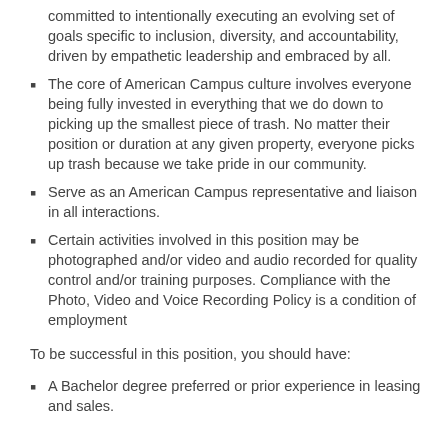committed to intentionally executing an evolving set of goals specific to inclusion, diversity, and accountability, driven by empathetic leadership and embraced by all.
The core of American Campus culture involves everyone being fully invested in everything that we do down to picking up the smallest piece of trash. No matter their position or duration at any given property, everyone picks up trash because we take pride in our community.
Serve as an American Campus representative and liaison in all interactions.
Certain activities involved in this position may be photographed and/or video and audio recorded for quality control and/or training purposes. Compliance with the Photo, Video and Voice Recording Policy is a condition of employment
To be successful in this position, you should have:
A Bachelor degree preferred or prior experience in leasing and sales.